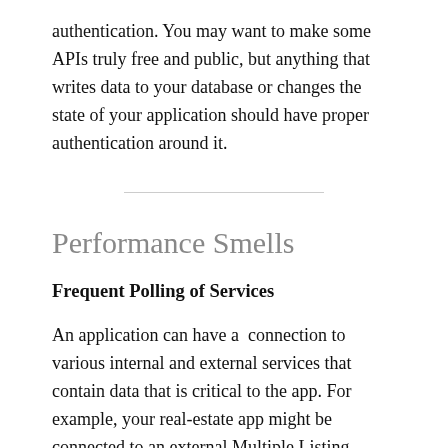authentication. You may want to make some APIs truly free and public, but anything that writes data to your database or changes the state of your application should have proper authentication around it.
Performance Smells
Frequent Polling of Services
An application can have a  connection to various internal and external services that contain data that is critical to the app. For example, your real-estate app might be connected to an external Multiple Listing Service (MLS) server that contains information about new homes that came on the market. What your application may do is to connect to the MLS service every few minutes,